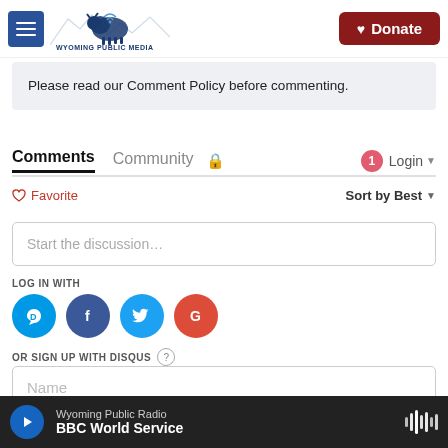[Figure (screenshot): Wyoming Public Media website header with hamburger menu icon, buffalo/bison logo, and red Donate button]
Please read our Comment Policy before commenting.
Comments  Community  🔒  1  Login
♡ Favorite  Sort by Best
Start the discussion…
LOG IN WITH
[Figure (infographic): Social login icons: Disqus (blue circle D), Facebook (dark blue circle f), Twitter (light blue circle bird), Google (red circle G)]
OR SIGN UP WITH DISQUS ?
Name
Wyoming Public Radio  BBC World Service